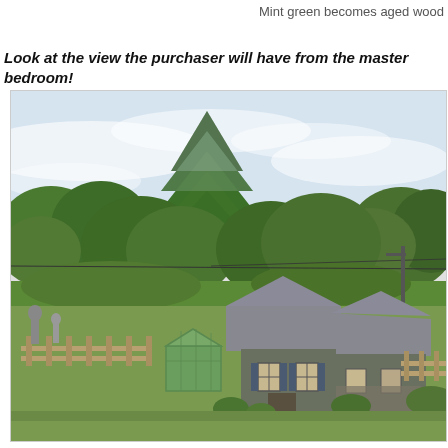Mint green becomes aged wood
Look at the view the purchaser will have from the master bedroom!
[Figure (photo): Exterior view from master bedroom showing a gray house with greenhouse, surrounded by large trees including a tall conifer, with utility lines, wooden fence, and garden area visible in the foreground.]